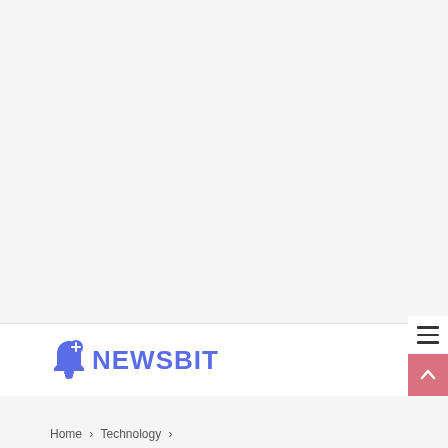[Figure (logo): NewsBit logo with blue bell icon and blue uppercase NEWSBIT text]
Home > Technology >